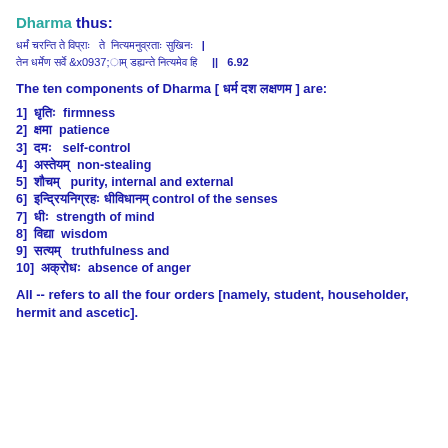Dharma thus:
[Sanskrit verse] || 6.92
The ten components of Dharma [ (Sanskrit) ] are:
1]  (Sanskrit)  firmness
2]  (Sanskrit)  patience
3]  (Sanskrit)  self-control
4]  (Sanskrit)  non-stealing
5]  (Sanskrit)  purity, internal and external
6]  (Sanskrit) (Sanskrit) control of the senses
7]  (Sanskrit)  strength of mind
8]  (Sanskrit)  wisdom
9]  (Sanskrit)  truthfulness and
10]  (Sanskrit)  absence of anger
All -- refers to all the four orders [namely, student, householder, hermit and ascetic].